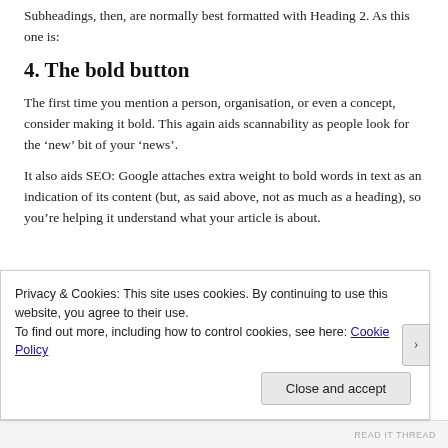Subheadings, then, are normally best formatted with Heading 2. As this one is:
4. The bold button
The first time you mention a person, organisation, or even a concept, consider making it bold. This again aids scannability as people look for the ‘new’ bit of your ‘news’.
It also aids SEO: Google attaches extra weight to bold words in text as an indication of its content (but, as said above, not as much as a heading), so you’re helping it understand what your article is about.
Privacy & Cookies: This site uses cookies. By continuing to use this website, you agree to their use.
To find out more, including how to control cookies, see here: Cookie Policy
Close and accept